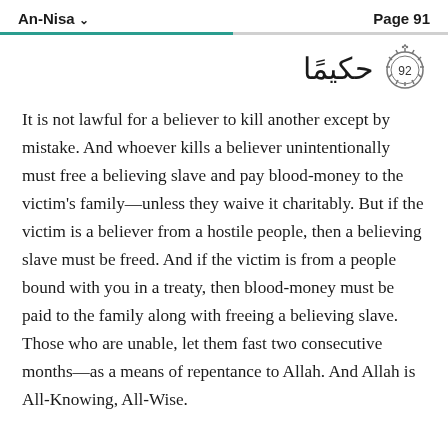An-Nisa  Page 91
[Figure (illustration): Arabic verse ending word in decorative calligraphy followed by an ornate circular verse number medallion showing ٩٢ (92)]
It is not lawful for a believer to kill another except by mistake. And whoever kills a believer unintentionally must free a believing slave and pay blood-money to the victim's family—unless they waive it charitably. But if the victim is a believer from a hostile people, then a believing slave must be freed. And if the victim is from a people bound with you in a treaty, then blood-money must be paid to the family along with freeing a believing slave. Those who are unable, let them fast two consecutive months—as a means of repentance to Allah. And Allah is All-Knowing, All-Wise.